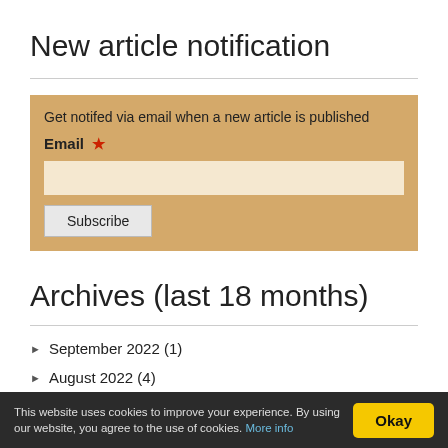New article notification
Get notifed via email when a new article is published
Email *
Subscribe
Archives (last 18 months)
September 2022 (1)
August 2022 (4)
This website uses cookies to improve your experience. By using our website, you agree to the use of cookies. More info